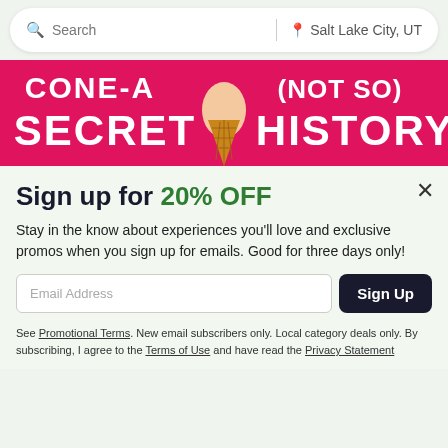Search | Salt Lake City, UT
[Figure (photo): Pink background with white text reading 'CONE-A (NOT SO) SECRET HISTORY' and a hand holding an ice cream cone in the center]
Sign up for 20% OFF
Stay in the know about experiences you'll love and exclusive promos when you sign up for emails. Good for three days only!
Email Address | Sign Up
See Promotional Terms. New email subscribers only. Local category deals only. By subscribing, I agree to the Terms of Use and have read the Privacy Statement